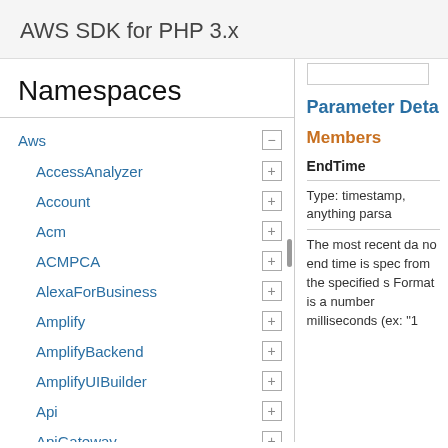AWS SDK for PHP 3.x
Namespaces
Aws
AccessAnalyzer
Account
Acm
ACMPCA
AlexaForBusiness
Amplify
AmplifyBackend
AmplifyUIBuilder
Api
ApiGateway
ApiGatewayManagementApi
Parameter Deta
Members
EndTime
Type: timestamp, anything parsa
The most recent da no end time is spec from the specified s Format is a number milliseconds (ex: "1